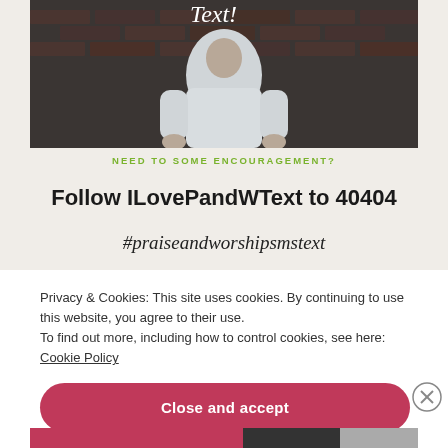[Figure (photo): A person in a white shirt standing in front of a dark brick wall with the word 'Text!' written in cursive at the top of the image.]
NEED TO SOME ENCOURAGEMENT?
Follow ILovePandWText to 40404
#praiseandworshipsmstext
Privacy & Cookies: This site uses cookies. By continuing to use this website, you agree to their use.
To find out more, including how to control cookies, see here: Cookie Policy
Close and accept